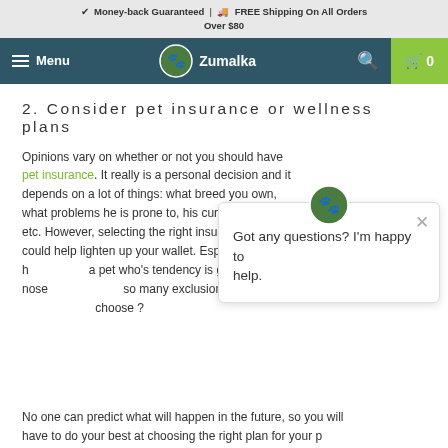Money-back Guaranteed | FREE Shipping On All Orders Over $80
Menu | Zumalka | 0
2. Consider pet insurance or wellness plans
Opinions vary on whether or not you should have pet insurance. It really is a personal decision and it depends on a lot of things: what breed you own, what problems he is prone to, his current health, etc. However, selecting the right insurance policy could help lighten up your wallet. Especially if you have a pet who's tendency is getting his nose into trouble... There are so many exclusions and options it can be hard to know what to choose ?
Got any questions? I'm happy to help.
No one can predict what will happen in the future, so you will have to do your best at choosing the right plan for your pet by ruling out what plans definitely won't work for you because they don't meet either your pet's needs or simply your wallet.